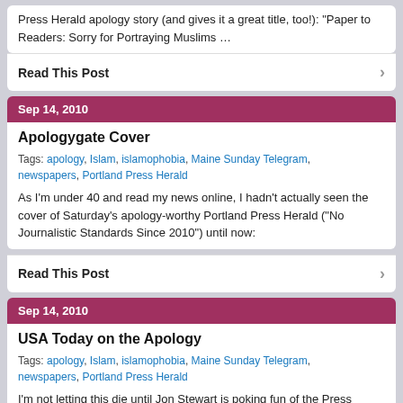Press Herald apology story (and gives it a great title, too!): “Paper to Readers: Sorry for Portraying Muslims …
Read This Post
Sep 14, 2010
Apologygate Cover
Tags: apology, Islam, islamophobia, Maine Sunday Telegram, newspapers, Portland Press Herald
As I’m under 40 and read my news online, I hadn’t actually seen the cover of Saturday’s apology-worthy Portland Press Herald (“No Journalistic Standards Since 2010”) until now:
Read This Post
Sep 14, 2010
USA Today on the Apology
Tags: apology, Islam, islamophobia, Maine Sunday Telegram, newspapers, Portland Press Herald
I’m not letting this die until Jon Stewart is poking fun of the Press Herald or Keith Olbermann lists Richard Connor as a “Worst Person in the World”. The Associated Press …